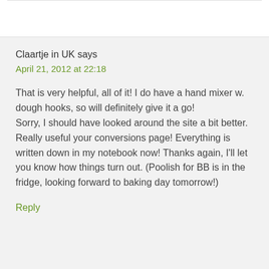Claartje in UK says
April 21, 2012 at 22:18
That is very helpful, all of it! I do have a hand mixer w. dough hooks, so will definitely give it a go!
Sorry, I should have looked around the site a bit better. Really useful your conversions page! Everything is written down in my notebook now! Thanks again, I'll let you know how things turn out. (Poolish for BB is in the fridge, looking forward to baking day tomorrow!)
Reply